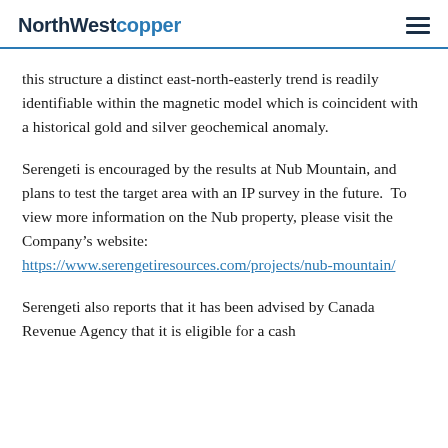NorthWestcopper
this structure a distinct east-north-easterly trend is readily identifiable within the magnetic model which is coincident with a historical gold and silver geochemical anomaly.
Serengeti is encouraged by the results at Nub Mountain, and plans to test the target area with an IP survey in the future.  To view more information on the Nub property, please visit the Company’s website: https://www.serengetiresources.com/projects/nub-mountain/
Serengeti also reports that it has been advised by Canada Revenue Agency that it is eligible for a cash